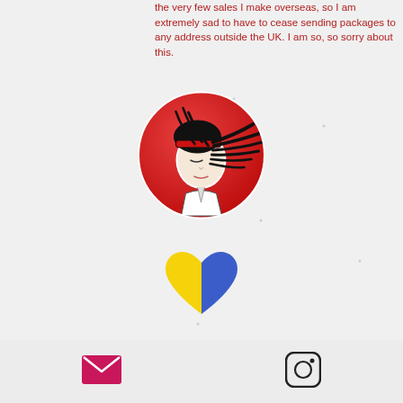the very few sales I make overseas, so I am extremely sad to have to cease sending packages to any address outside the UK. I am so, so sorry about this.
[Figure (illustration): Circular badge/pin with red background showing an anime-style character with dreadlocks and a red headband, black and white illustration style]
[Figure (illustration): Heart shape split diagonally: left/bottom half yellow, right/top half blue — Ukraine flag colors heart emoji]
[Figure (other): Email envelope icon in magenta/pink color]
[Figure (other): Instagram camera icon in dark outline style]